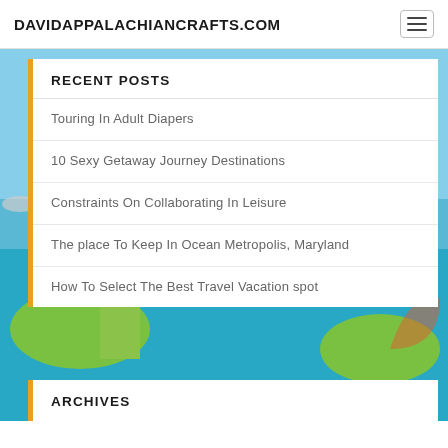DAVIDAPPALACHIANCRAFTS.COM
RECENT POSTS
Touring In Adult Diapers
10 Sexy Getaway Journey Destinations
Constraints On Collaborating In Leisure
The place To Keep In Ocean Metropolis, Maryland
How To Select The Best Travel Vacation spot
ARCHIVES